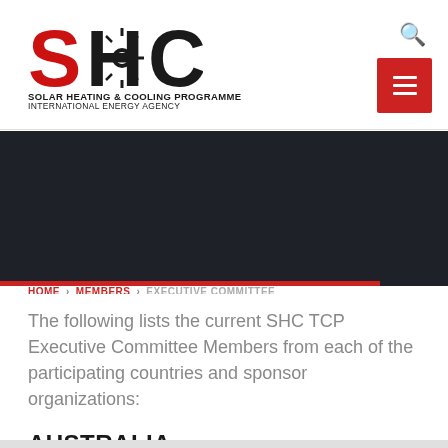[Figure (logo): SHC Solar Heating & Cooling Programme – International Energy Agency logo with red S, black H and C letters with starburst]
SOLAR HEATING & COOLING PROGRAMME
INTERNATIONAL ENERGY AGENCY
HOME › MEMBERS › EXECUTIVE COMMITTEE
Executive Committee (ExCo)
The following lists the current SHC TCP Executive Committee Members from each of the participating countries and sponsor organizations:
AUSTRALIA